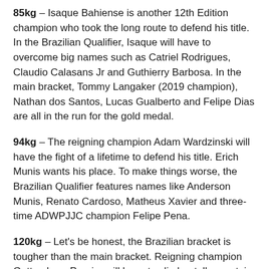85kg – Isaque Bahiense is another 12th Edition champion who took the long route to defend his title. In the Brazilian Qualifier, Isaque will have to overcome big names such as Catriel Rodrigues, Claudio Calasans Jr and Guthierry Barbosa. In the main bracket, Tommy Langaker (2019 champion), Nathan dos Santos, Lucas Gualberto and Felipe Dias are all in the run for the gold medal.
94kg – The reigning champion Adam Wardzinski will have the fight of a lifetime to defend his title. Erich Munis wants his place. To make things worse, the Brazilian Qualifier features names like Anderson Munis, Renato Cardoso, Matheus Xavier and three-time ADWPJJC champion Felipe Pena.
120kg – Let's be honest, the Brazilian bracket is tougher than the main bracket. Reigning champion Guttemberg Pereira will have to climb a tall mountain for a spot on Thursday. Wallace Costa, Antonio Peinado, Igor Silva,